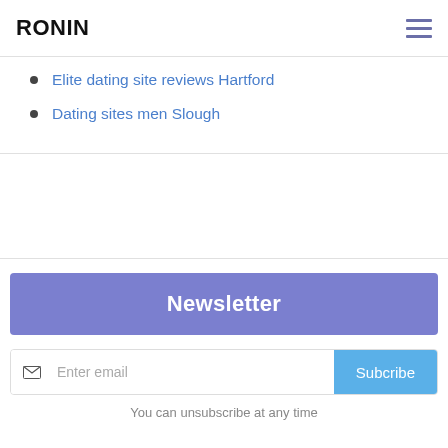RONIN
Elite dating site reviews Hartford
Dating sites men Slough
Newsletter
Enter email
Subcribe
You can unsubscribe at any time